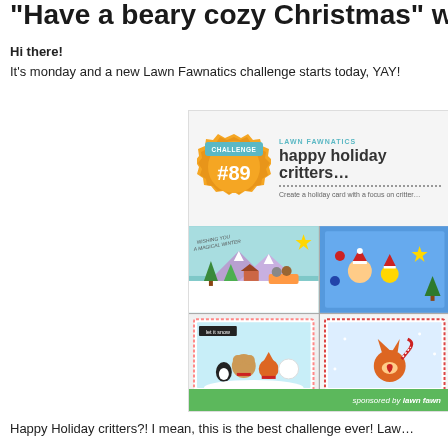"Have a beary cozy Christmas" with Lawn F…
Hi there!
It's monday and a new Lawn Fawnatics challenge starts today, YAY!
[Figure (illustration): Lawn Fawnatics Challenge #89 - Happy Holiday Critters promotional image with badge, holiday cards featuring cute animals in winter/Christmas scenes, and a green grass footer with 'sponsored by lawn fawn' text.]
Happy Holiday critters?! I mean, this is the best challenge ever! Law…